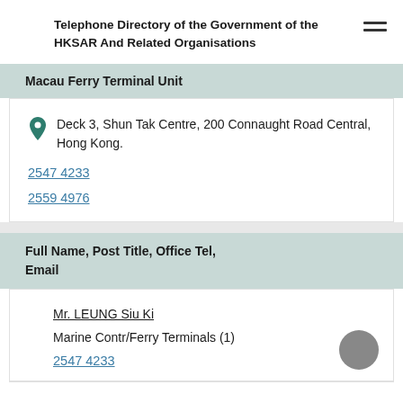Telephone Directory of the Government of the HKSAR And Related Organisations
Macau Ferry Terminal Unit
Deck 3, Shun Tak Centre, 200 Connaught Road Central, Hong Kong.
2547 4233
2559 4976
Full Name, Post Title, Office Tel, Email
Mr. LEUNG Siu Ki
Marine Contr/Ferry Terminals (1)
2547 4233